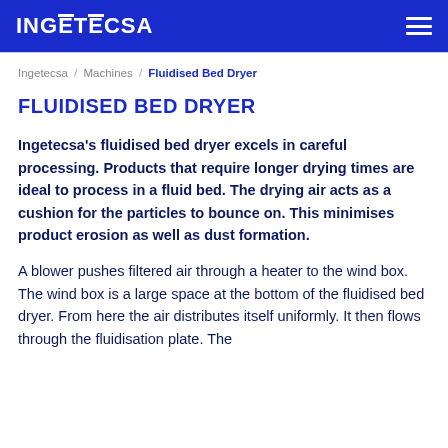INGETECSA
Ingetecsa / Machines / Fluidised Bed Dryer
FLUIDISED BED DRYER
Ingetecsa's fluidised bed dryer excels in careful processing. Products that require longer drying times are ideal to process in a fluid bed. The drying air acts as a cushion for the particles to bounce on. This minimises product erosion as well as dust formation.
A blower pushes filtered air through a heater to the wind box. The wind box is a large space at the bottom of the fluidised bed dryer. From here the air distributes itself uniformly. It then flows through the fluidisation plate. The